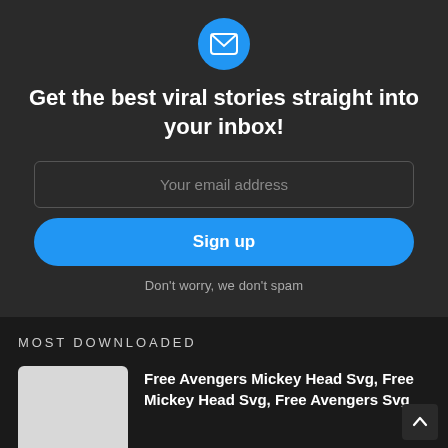[Figure (illustration): Blue circular mail/envelope icon at the top of the signup widget]
Get the best viral stories straight into your inbox!
Your email address
Sign up
Don't worry, we don't spam
MOST DOWNLOADED
Free Avengers Mickey Head Svg, Free Mickey Head Svg, Free Avengers Svg
Free Valentine Svg, Cat Svg, They Call Me Romeo Svg